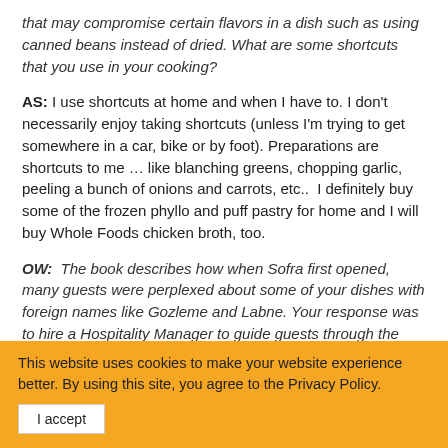that may compromise certain flavors in a dish such as using canned beans instead of dried. What are some shortcuts that you use in your cooking?
AS: I use shortcuts at home and when I have to. I don't necessarily enjoy taking shortcuts (unless I'm trying to get somewhere in a car, bike or by foot). Preparations are shortcuts to me … like blanching greens, chopping garlic, peeling a bunch of onions and carrots, etc..  I definitely buy some of the frozen phyllo and puff pastry for home and I will buy Whole Foods chicken broth, too.
OW:  The book describes how when Sofra first opened, many guests were perplexed about some of your dishes with foreign names like Gozleme and Labne. Your response was to hire a Hospitality Manager to guide guests through the dining experience. Has your communications with guests
This website uses cookies to make your website experience better. By using this site, you agree to the Privacy Policy. I accept